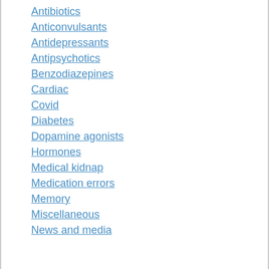Antibiotics
Anticonvulsants
Antidepressants
Antipsychotics
Benzodiazepines
Cardiac
Covid
Diabetes
Dopamine agonists
Hormones
Medical kidnap
Medication errors
Memory
Miscellaneous
News and media